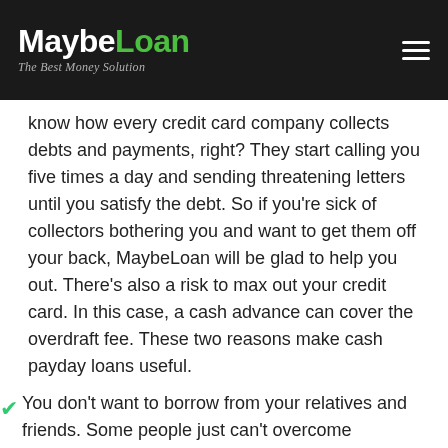MaybeLoan — The Best Money Solution
know how every credit card company collects debts and payments, right? They start calling you five times a day and sending threatening letters until you satisfy the debt. So if you're sick of collectors bothering you and want to get them off your back, MaybeLoan will be glad to help you out. There's also a risk to max out your credit card. In this case, a cash advance can cover the overdraft fee. These two reasons make cash payday loans useful.
You don't want to borrow from your relatives and friends. Some people just can't overcome themselves and ask their families for financial aid. If it's your case, then online payday loans in Vicksburg, Michigan(MI) can help you get some